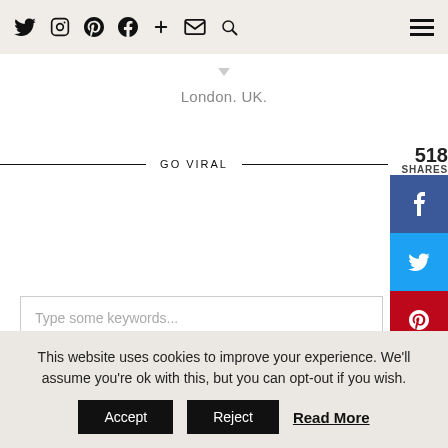Navigation bar with social icons: Twitter, Instagram, Pinterest, Facebook, Plus, Mail, Search, and hamburger menu
London. UK.
GO VIRAL
518 SHARES
[Figure (other): Social share sidebar buttons: Facebook (blue), Twitter (light blue), Pinterest (red), LinkedIn (dark blue)]
Type some keywords...
INSTA-FABULOUS
This website uses cookies to improve your experience. We'll assume you're ok with this, but you can opt-out if you wish. Accept Reject Read More